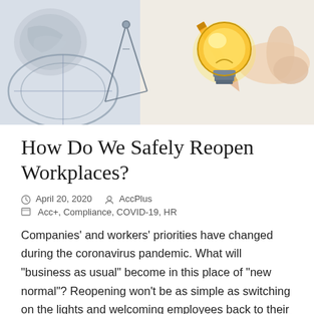[Figure (illustration): A hand drawing a glowing light bulb with an orange pencil, set among drafting tools including a compass, protractor, and crumpled paper on a white surface. The image suggests creativity and innovation.]
How Do We Safely Reopen Workplaces?
April 20, 2020   AccPlus
Acc+, Compliance, COVID-19, HR
Companies' and workers' priorities have changed during the coronavirus pandemic. What will "business as usual" become in this place of "new normal"? Reopening won't be as simple as switching on the lights and welcoming employees back to their desks. Take...